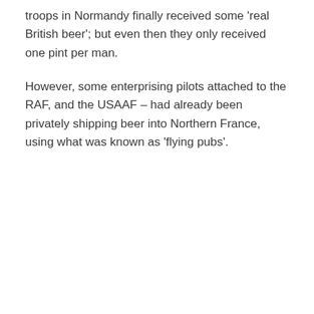troops in Normandy finally received some 'real British beer'; but even then they only received one pint per man.
However, some enterprising pilots attached to the RAF, and the USAAF – had already been privately shipping beer into Northern France, using what was known as 'flying pubs'.